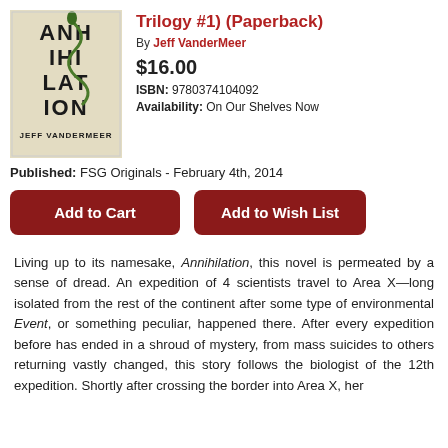[Figure (illustration): Book cover of Annihilation by Jeff VanderMeer showing stylized text with a snake/vine motif on a cream background]
Trilogy #1) (Paperback)
By Jeff VanderMeer
$16.00
ISBN: 9780374104092
Availability: On Our Shelves Now
Published: FSG Originals - February 4th, 2014
Add to Cart
Add to Wish List
Living up to its namesake, Annihilation, this novel is permeated by a sense of dread. An expedition of 4 scientists travel to Area X—long isolated from the rest of the continent after some type of environmental Event, or something peculiar, happened there. After every expedition before has ended in a shroud of mystery, from mass suicides to others returning vastly changed, this story follows the biologist of the 12th expedition. Shortly after crossing the border into Area X, her